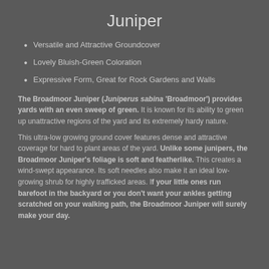Juniper
Versatile and Attractive Groundcover
Lovely Bluish-Green Coloration
Expressive Form, Great for Rock Gardens and Walls
The Broadmoor Juniper (Juniperus sabina 'Broadmoor') provides yards with an even sweep of green. It is known for its ability to green up unattractive regions of the yard and its extremely hardy nature.
This ultra-low growing ground cover features dense and attractive coverage for hard to plant areas of the yard. Unlike some junipers, the Broadmoor Juniper's foliage is soft and featherlike. This creates a wind-swept appearance. Its soft needles also make it an ideal low-growing shrub for highly trafficked areas. If your little ones run barefoot in the backyard or you don't want your ankles getting scratched on your walking path, the Broadmoor Juniper will surely make your day.